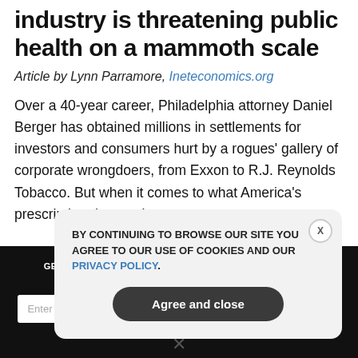industry is threatening public health on a mammoth scale
Article by Lynn Parramore, Ineteconomics.org
Over a 40-year career, Philadelphia attorney Daniel Berger has obtained millions in settlements for investors and consumers hurt by a rogues' gallery of corporate wrongdoers, from Exxon to R.J. Reynolds Tobacco. But when it comes to what America's prescription drug makers
GET THE WORLD'S BEST NATURAL HEALTH NEWSLETTER DELIVERED STRAIGHT TO YOUR INBOX
Enter Your Email Address
SUBSCRIBE
BY CONTINUING TO BROWSE OUR SITE YOU AGREE TO OUR USE OF COOKIES AND OUR PRIVACY POLICY.
Agree and close